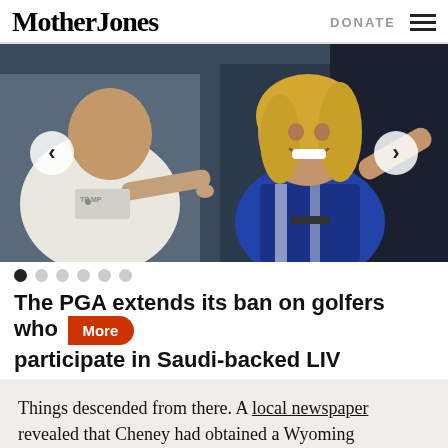Mother Jones | DONATE
[Figure (photo): A woman with blonde hair in a blue sleeveless top smiles broadly at left, while a man in a white shirt pointing at something stands to her right. Slideshow navigation arrows visible on left and right.]
The PGA extends its ban on golfers who participate in Saudi-backed LIV
Things descended from there. A local newspaper revealed that Cheney had obtained a Wyoming